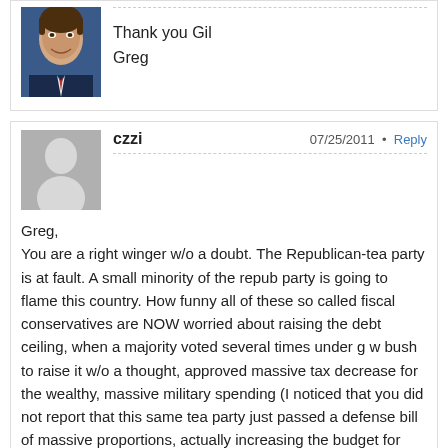[Figure (photo): Profile photo of a man in a suit against a blue background]
Thank you Gil
Greg
czzi    07/25/2011 • Reply
Greg,
You are a right winger w/o a doubt. The Republican-tea party is at fault. A small minority of the repub party is going to flame this country. How funny all of these so called fiscal conservatives are NOW worried about raising the debt ceiling, when a majority voted several times under g w bush to raise it w/o a thought, approved massive tax decrease for the wealthy, massive military spending (I noticed that you did not report that this same tea party just passed a defense bill of massive proportions, actually increasing the budget for that!)Yet no comments? This will lead us to nowhere very fast. You conservatives should shut up and take the blame that you deserve!